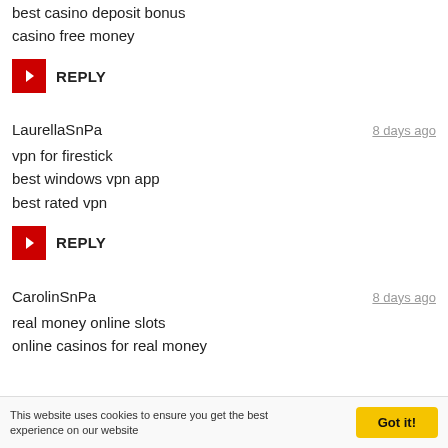best casino deposit bonus
casino free money
REPLY
LaurellaSnPa
8 days ago
vpn for firestick
best windows vpn app
best rated vpn
REPLY
CarolinSnPa
8 days ago
real money online slots
online casinos for real money
This website uses cookies to ensure you get the best experience on our website
Got it!